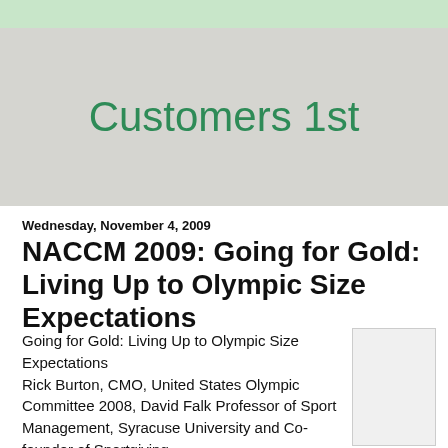Customers 1st
Wednesday, November 4, 2009
NACCM 2009: Going for Gold: Living Up to Olympic Size Expectations
Going for Gold: Living Up to Olympic Size Expectations
Rick Burton, CMO, United States Olympic Committee 2008, David Falk Professor of Sport Management, Syracuse University and Co-founder of Sportgiving
[Figure (photo): Small thumbnail image placeholder]